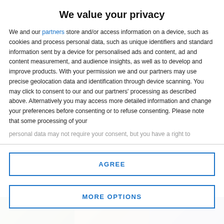We value your privacy
We and our partners store and/or access information on a device, such as cookies and process personal data, such as unique identifiers and standard information sent by a device for personalised ads and content, ad and content measurement, and audience insights, as well as to develop and improve products. With your permission we and our partners may use precise geolocation data and identification through device scanning. You may click to consent to our and our partners' processing as described above. Alternatively you may access more detailed information and change your preferences before consenting or to refuse consenting. Please note that some processing of your personal data may not require your consent, but you have a right to
AGREE
MORE OPTIONS
[Figure (photo): Bottom strip showing partial outdoor/nature photograph]